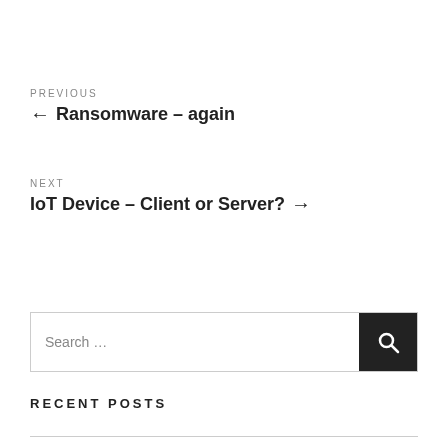PREVIOUS
← Ransomware – again
NEXT
IoT Device – Client or Server? →
Search …
RECENT POSTS